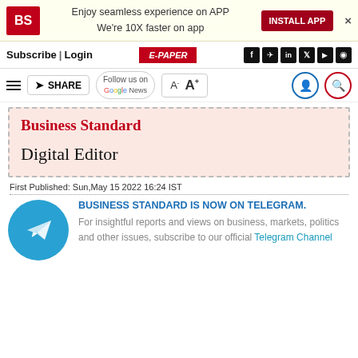BS | Enjoy seamless experience on APP We're 10X faster on app | INSTALL APP
Subscribe | Login | E-PAPER
SHARE | Follow us on Google News | A- A+
Business Standard
Digital Editor
First Published: Sun,May 15 2022 16:24 IST
BUSINESS STANDARD IS NOW ON TELEGRAM. For insightful reports and views on business, markets, politics and other issues, subscribe to our official Telegram Channel